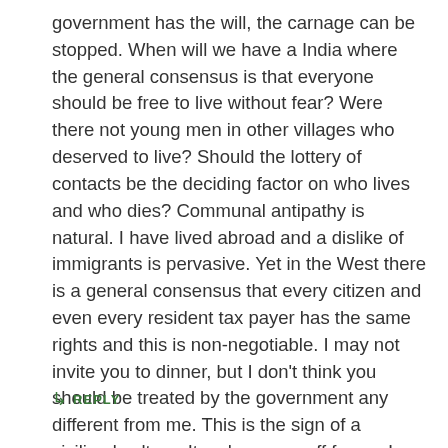government has the will, the carnage can be stopped. When will we have a India where the general consensus is that everyone should be free to live without fear? Were there not young men in other villages who deserved to live? Should the lottery of contacts be the deciding factor on who lives and who dies? Communal antipathy is natural. I have lived abroad and a dislike of immigrants is pervasive. Yet in the West there is a general consensus that every citizen and even every resident tax payer has the same rights and this is non-negotiable. I may not invite you to dinner, but I don't think you should be treated by the government any different from me. This is the sign of a civilised culture. Its a long way off for us. I am a North Indian who grew up in the South. Different culture, language, food and yet not reviled. Why should the Muslim experience be different?
↳ REPLY